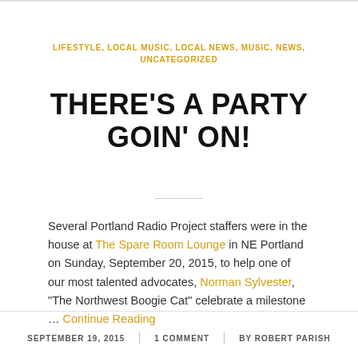LIFESTYLE, LOCAL MUSIC, LOCAL NEWS, MUSIC, NEWS, UNCATEGORIZED
THERE'S A PARTY GOIN' ON!
Several Portland Radio Project staffers were in the house at The Spare Room Lounge in NE Portland on Sunday, September 20, 2015, to help one of our most talented advocates, Norman Sylvester, “The Northwest Boogie Cat” celebrate a milestone … Continue Reading
SEPTEMBER 19, 2015 | 1 COMMENT | BY ROBERT PARISH